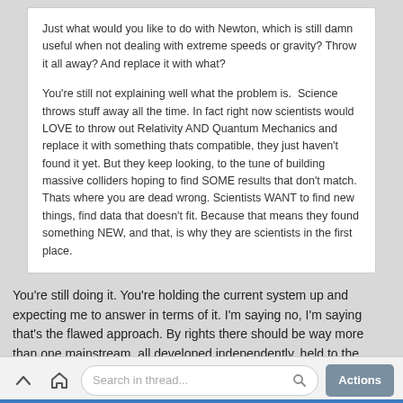Just what would you like to do with Newton, which is still damn useful when not dealing with extreme speeds or gravity? Throw it all away? And replace it with what?

You're still not explaining well what the problem is.  Science throws stuff away all the time. In fact right now scientists would LOVE to throw out Relativity AND Quantum Mechanics and replace it with something thats compatible, they just haven't found it yet. But they keep looking, to the tune of building massive colliders hoping to find SOME results that don't match. Thats where you are dead wrong. Scientists WANT to find new things, find data that doesn't fit. Because that means they found something NEW, and that, is why they are scientists in the first place.
You're still doing it. You're holding the current system up and expecting me to answer in terms of it. I'm saying no, I'm saying that's the flawed approach. By rights there should be way more than one mainstream, all developed independently, held to the same standard of needing to provide accurate explanations, and allowed to develop to an equivalent standard rather than being rejected simply because a younger model would lack
Search in thread...  Actions